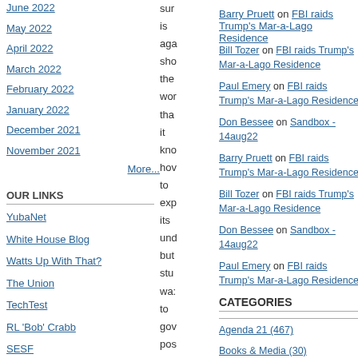June 2022
May 2022
April 2022
March 2022
February 2022
January 2022
December 2021
November 2021
More...
OUR LINKS
YubaNet
White House Blog
Watts Up With That?
The Union
TechTest
RL 'Bob' Crabb
SESF
sur is aga sho the wor tha it kno hov to exp its und but stu wa: to gov pos the mo ble
Barry Pruett on FBI raids Trump's Mar-a-Lago Residence
Bill Tozer on FBI raids Trump's Mar-a-Lago Residence
Paul Emery on FBI raids Trump's Mar-a-Lago Residence
Don Bessee on Sandbox - 14aug22
Barry Pruett on FBI raids Trump's Mar-a-Lago Residence
Bill Tozer on FBI raids Trump's Mar-a-Lago Residence
Don Bessee on Sandbox - 14aug22
Paul Emery on FBI raids Trump's Mar-a-Lago Residence
CATEGORIES
Agenda 21 (467)
Books & Media (30)
California (358)
Comment Sandbox (413)
Critical Thinking & Numeracy (1339)